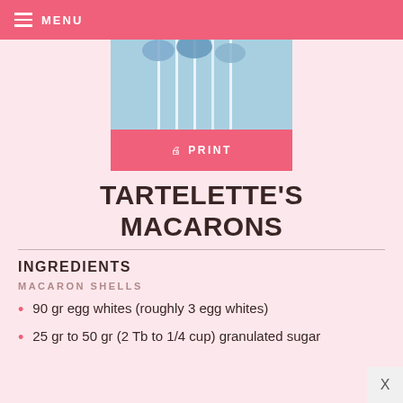MENU
[Figure (photo): Photo of macarons on sticks against a light blue background, partially visible at top]
PRINT
TARTELETTE'S MACARONS
INGREDIENTS
MACARON SHELLS
90 gr egg whites (roughly 3 egg whites)
25 gr to 50 gr (2 Tb to 1/4 cup) granulated sugar